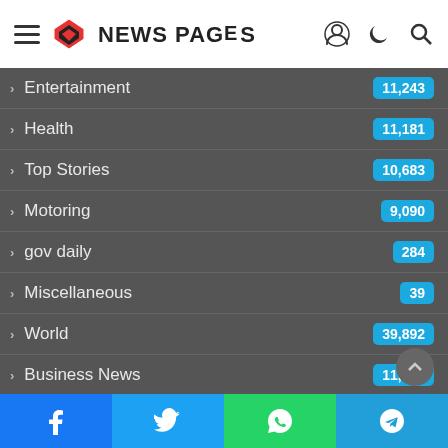NEWS PAGES
Entertainment 11,243
Health 11,181
Top Stories 10,683
Motoring 9,090
gov daily 284
Miscellaneous 39
World 39,892
Business News 11,176
Travel 11,163
Zimbabwe News 6,743
Botswana News 3,…
Africa 2,121